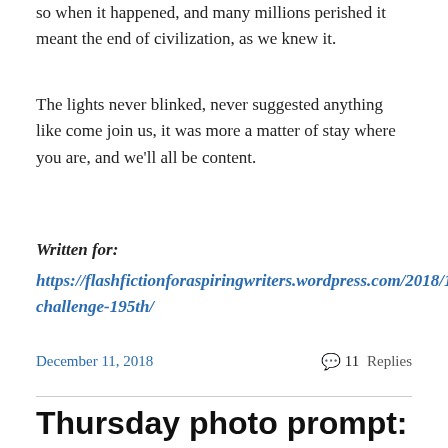so when it happened, and many millions perished it meant the end of civilization, as we knew it.
The lights never blinked, never suggested anything like come join us, it was more a matter of stay where you are, and we'll all be content.
Written for:
https://flashfictionforaspiringwriters.wordpress.com/2018/12/10/fffaw-challenge-195th/
December 11, 2018
11 Replies
Thursday photo prompt: Stark #writephoto – The Starkness